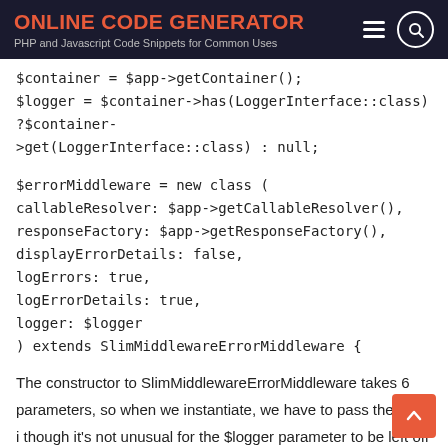ONLINE CODE GENERATOR
PHP and Javascript Code Snippets for Common Uses
$container = $app->getContainer();
$logger = $container->has(LoggerInterface::class) ?$container->get(LoggerInterface::class) : null;

$errorMiddleware = new class (
callableResolver: $app->getCallableResolver(),
responseFactory: $app->getResponseFactory(),
displayErrorDetails: false,
logErrors: true,
logErrorDetails: true,
logger: $logger
) extends SlimMiddlewareErrorMiddleware {
The constructor to SlimMiddlewareErrorMiddleware takes 6 parameters, so when we instantiate, we have to pass them all i though it's not unusual for the $logger parameter to be left off in the